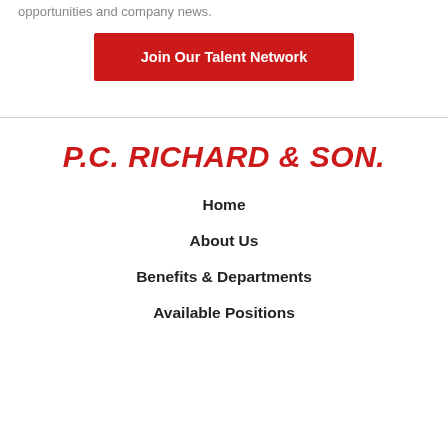opportunities and company news.
Join Our Talent Network
[Figure (logo): P.C. Richard & Son logo in red italic bold text]
Home
About Us
Benefits & Departments
Available Positions